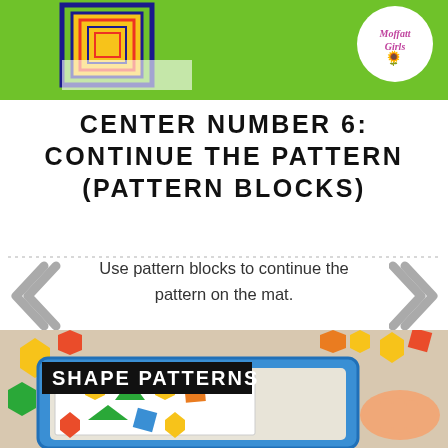[Figure (photo): Top portion of an educational material page with green background, nested rectangle pattern blocks design, and Moffatt Girls logo circle in upper right]
CENTER NUMBER 6: CONTINUE THE PATTERN (PATTERN BLOCKS)
Use pattern blocks to continue the pattern on the mat.
[Figure (photo): Photo of a blue tray with colorful pattern blocks (yellow hexagons, green triangles, orange squares, blue diamonds) arranged on shape pattern worksheets, with a child's hand visible placing blocks]